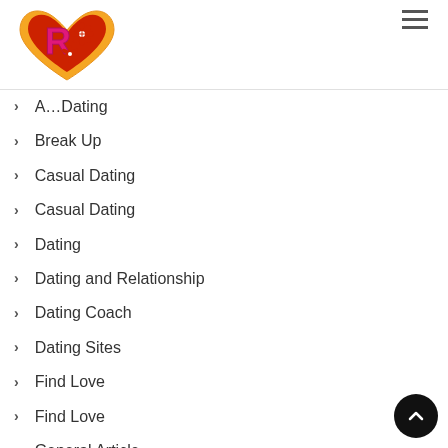[Figure (logo): Heart-shaped logo with orange/red heart, pink R letter, and red flowers]
A... Dating
Break Up
Casual Dating
Casual Dating
Dating
Dating and Relationship
Dating Coach
Dating Sites
Find Love
Find Love
General Article